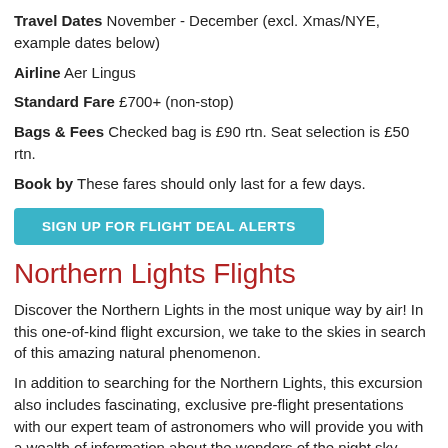Travel Dates November - December (excl. Xmas/NYE, example dates below)
Airline Aer Lingus
Standard Fare £700+ (non-stop)
Bags & Fees Checked bag is £90 rtn. Seat selection is £50 rtn.
Book by These fares should only last for a few days.
SIGN UP FOR FLIGHT DEAL ALERTS
Northern Lights Flights
Discover the Northern Lights in the most unique way by air! In this one-of-kind flight excursion, we take to the skies in search of this amazing natural phenomenon.
In addition to searching for the Northern Lights, this excursion also includes fascinating, exclusive pre-flight presentations with our expert team of astronomers who will provide you with a wealth of information about the wonders of the night sky. Throughout the flight, our astronomers will also give expert commentary on the many wonders